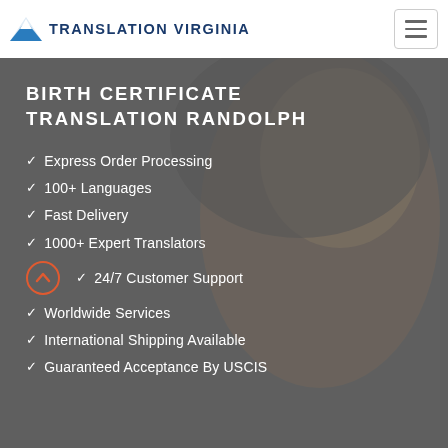TRANSLATION VIRGINIA
BIRTH CERTIFICATE TRANSLATION RANDOLPH
Express Order Processing
100+ Languages
Fast Delivery
1000+ Expert Translators
24/7 Customer Support
Worldwide Services
International Shipping Available
Guaranteed Acceptance By USCIS